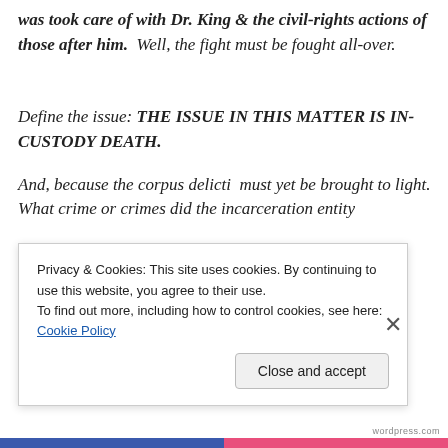was took care of with Dr. King & the civil-rights actions of those after him.  Well, the fight must be fought all-over.
Define the issue: THE ISSUE IN THIS MATTER IS IN-CUSTODY DEATH.
And, because the corpus delicti  must yet be brought to light.  What crime or crimes did the incarceration entity
Privacy & Cookies: This site uses cookies. By continuing to use this website, you agree to their use.
To find out more, including how to control cookies, see here: Cookie Policy